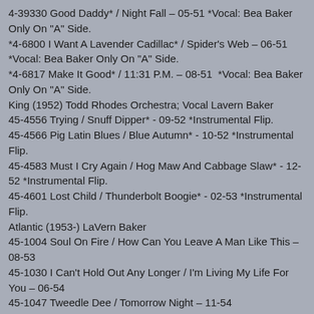4-39330 Good Daddy* / Night Fall – 05-51 *Vocal: Bea Baker Only On "A" Side.
*4-6800 I Want A Lavender Cadillac* / Spider's Web – 06-51 *Vocal: Bea Baker Only On "A" Side.
*4-6817 Make It Good* / 11:31 P.M. – 08-51  *Vocal: Bea Baker Only On "A" Side.
King (1952) Todd Rhodes Orchestra; Vocal Lavern Baker
45-4556 Trying / Snuff Dipper* - 09-52 *Instrumental Flip.
45-4566 Pig Latin Blues / Blue Autumn* - 10-52 *Instrumental Flip.
45-4583 Must I Cry Again / Hog Maw And Cabbage Slaw* - 12-52 *Instrumental Flip.
45-4601 Lost Child / Thunderbolt Boogie* - 02-53 *Instrumental Flip.
Atlantic (1953-) LaVern Baker
45-1004 Soul On Fire / How Can You Leave A Man Like This – 08-53
45-1030 I Can't Hold Out Any Longer / I'm Living My Life For You – 06-54
45-1047 Tweedle Dee / Tomorrow Night – 11-54
45-1057 Bop-Ting-A-Ling / That's All I Need – 04-55
45-1075 Play It Fair / Lucky Old Sun – 10-55